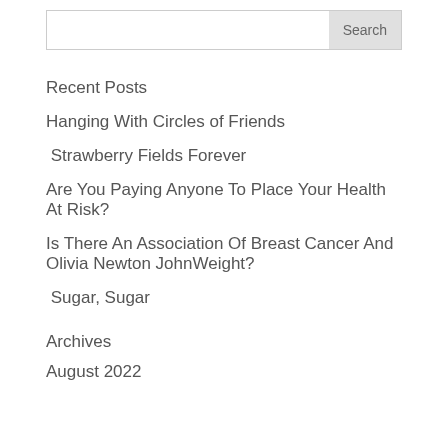Search
Recent Posts
Hanging With Circles of Friends
Strawberry Fields Forever
Are You Paying Anyone To Place Your Health At Risk?
Is There An Association Of Breast Cancer And Olivia Newton JohnWeight?
Sugar, Sugar
Archives
August 2022